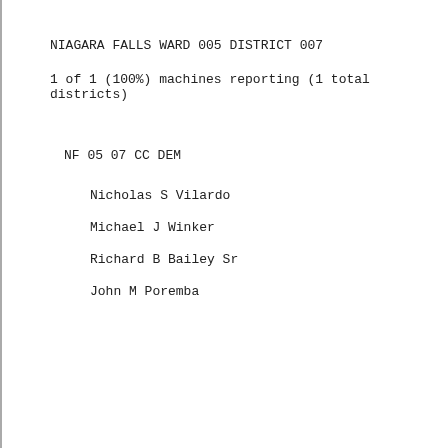NIAGARA FALLS WARD 005 DISTRICT 007
1 of 1 (100%) machines reporting (1 total districts)
NF 05 07 CC DEM
Nicholas S Vilardo
Michael J Winker
Richard B Bailey Sr
John M Poremba